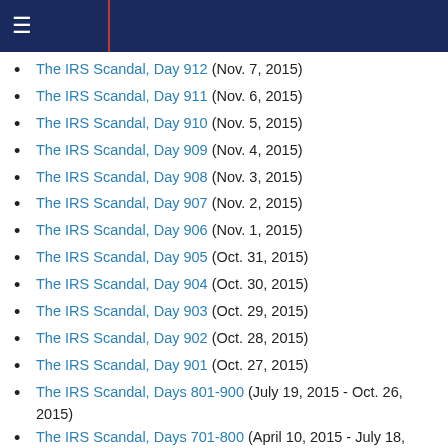≡
The IRS Scandal, Day 912 (Nov. 7, 2015)
The IRS Scandal, Day 911 (Nov. 6, 2015)
The IRS Scandal, Day 910 (Nov. 5, 2015)
The IRS Scandal, Day 909 (Nov. 4, 2015)
The IRS Scandal, Day 908 (Nov. 3, 2015)
The IRS Scandal, Day 907 (Nov. 2, 2015)
The IRS Scandal, Day 906 (Nov. 1, 2015)
The IRS Scandal, Day 905 (Oct. 31, 2015)
The IRS Scandal, Day 904 (Oct. 30, 2015)
The IRS Scandal, Day 903 (Oct. 29, 2015)
The IRS Scandal, Day 902 (Oct. 28, 2015)
The IRS Scandal, Day 901 (Oct. 27, 2015)
The IRS Scandal, Days 801-900 (July 19, 2015 - Oct. 26, 2015)
The IRS Scandal, Days 701-800 (April 10, 2015 - July 18, 2015)
The IRS Scandal, Days 601-700 (Dec. 31, 2014 - April 9, 2015)
The IRS Scandal, Days 501-600 (Sept. 22, 2014-Dec. 30, 2014)
The IRS Scandal, Days 401-500 (June 14, 2014 - Sept.